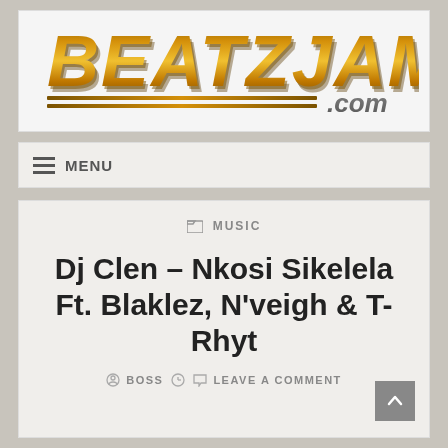[Figure (logo): BEATZJAM.com logo in large italic bold text with gold/brown gradient and two underlines beneath]
≡ MENU
⊡ MUSIC
Dj Clen – Nkosi Sikelela Ft. Blaklez, N'veigh & T-Rhyt
⊙ BOSS ⊙ ⊙ LEAVE A COMMENT